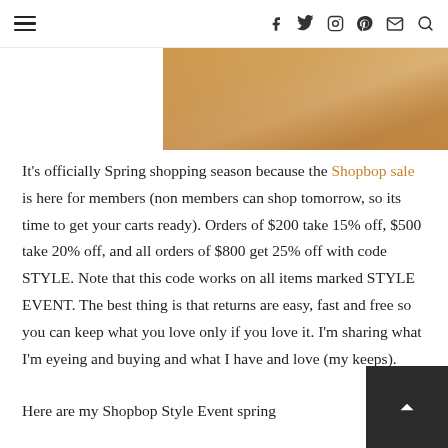≡  f  twitter  instagram  pinterest  mail  search
[Figure (photo): Partial image of a woman in spring clothing with golden/amber tones]
It's officially Spring shopping season because the Shopbop sale is here for members (non members can shop tomorrow, so its time to get your carts ready). Orders of $200 take 15% off, $500 take 20% off, and all orders of $800 get 25% off with code STYLE. Note that this code works on all items marked STYLE EVENT. The best thing is that returns are easy, fast and free so you can keep what you love only if you love it. I'm sharing what I'm eyeing and buying and what I have and love (my keeps).
Here are my Shopbop Style Event spring fav...